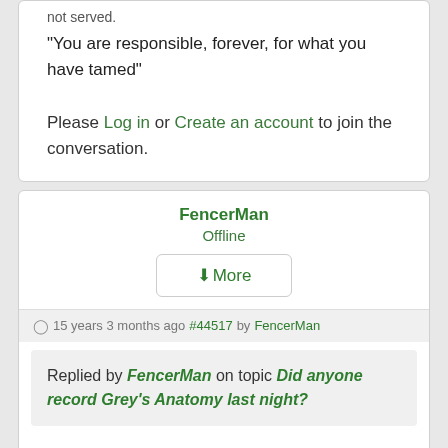not served.
"You are responsible, forever, for what you have tamed"
Please Log in or Create an account to join the conversation.
FencerMan
Offline
↓More
15 years 3 months ago #44517 by FencerMan
Replied by FencerMan on topic Did anyone record Grey's Anatomy last night?
Ahhh, you missed a good episode Lou! Especially the last 10 seconds of it!